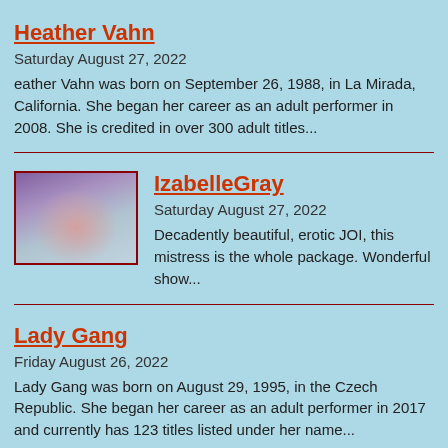Heather Vahn
Saturday August 27, 2022
eather Vahn was born on September 26, 1988, in La Mirada, California. She began her career as an adult performer in 2008. She is credited in over 300 adult titles...
IzabelleGray
Saturday August 27, 2022
Decadently beautiful, erotic JOI, this mistress is the whole package. Wonderful show...
Lady Gang
Friday August 26, 2022
Lady Gang was born on August 29, 1995, in the Czech Republic. She began her career as an adult performer in 2017 and currently has 123 titles listed under her name...